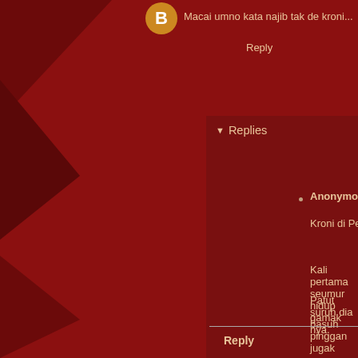Macai umno kata najib tak de kroni...
Reply
Replies
Anonymous  Sunday, May 20, 2018 1:09:00 AM
Kroni di Pekan ramai. Tadi video clip tunjuk dia tolo...
Kali pertama seumur hidup gamak nya.
Patut suruh dia basuh pinggan jugak
Reply
Anonymous  Sunday, May 20, 2018 1:14:00 AM
Rosmah: Stop leaking raid pictures on social media
FMT Reporters
Pantek dia.
Bakpa rasa malu pulak? Beli lah 300 beg Birkin, Hermes lag...
Sori yang buat dari kulit badak. Mak Badak...